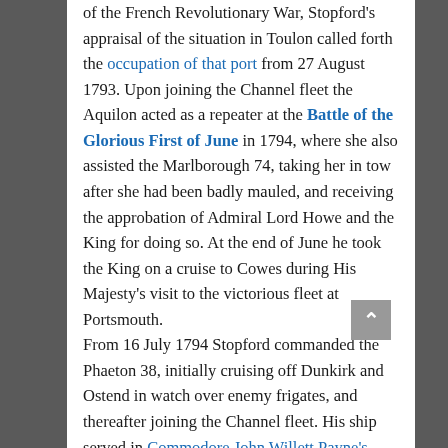of the French Revolutionary War, Stopford's appraisal of the situation in Toulon called forth the occupation of that port from 27 August 1793. Upon joining the Channel fleet the Aquilon acted as a repeater at the Battle of the Glorious First of June in 1794, where she also assisted the Marlborough 74, taking her in tow after she had been badly mauled, and receiving the approbation of Admiral Lord Howe and the King for doing so. At the end of June he took the King on a cruise to Cowes during His Majesty's visit to the victorious fleet at Portsmouth.
From 16 July 1794 Stopford commanded the Phaeton 38, initially cruising off Dunkirk and Ostend in watch over enemy frigates, and thereafter joining the Channel fleet. His ship served in Commodore John Willett Payne's squadron that collected the royal bride, Princess Caroline of Brunswick, from Cuxhaven on 28 March. The Phaeton was later active in the capture of a Bordeaux convoy on 7 June